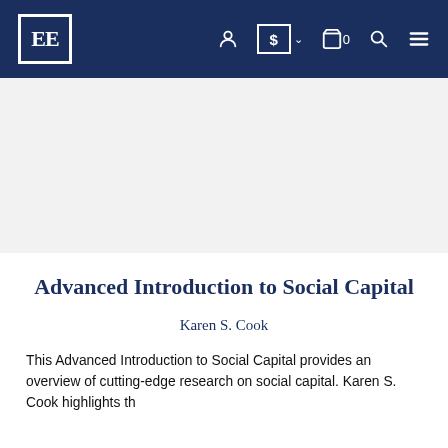EE [logo] — navigation bar with user, currency, cart, search, and menu icons
[Figure (other): Book cover image placeholder area (light grey background)]
Advanced Introduction to Social Capital
Karen S. Cook
This Advanced Introduction to Social Capital provides an overview of cutting-edge research on social capital. Karen S. Cook highlights the...